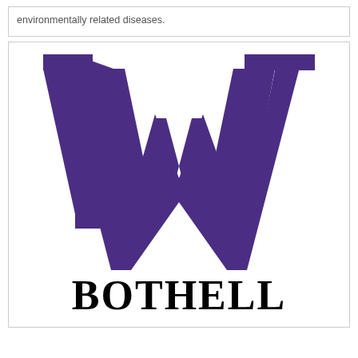environmentally related diseases.
[Figure (logo): University of Washington Bothell logo: large purple block W letter above the word BOTHELL in black serif capitals]